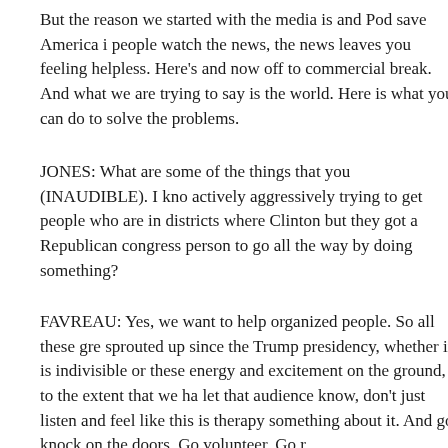But the reason we started with the media is and Pod save America i people watch the news, the news leaves you feeling helpless. Here's and now off to commercial break. And what we are trying to say is the world. Here is what you can do to solve the problems.
JONES: What are some of the things that you (INAUDIBLE). I kno actively aggressively trying to get people who are in districts where Clinton but they got a Republican congress person to go all the way by doing something?
FAVREAU: Yes, we want to help organized people. So all these gre sprouted up since the Trump presidency, whether it is indivisible or these energy and excitement on the ground, to the extent that we ha let that audience know, don't just listen and feel like this is therapy something about it. And go knock on the doors. Go volunteer. Go r